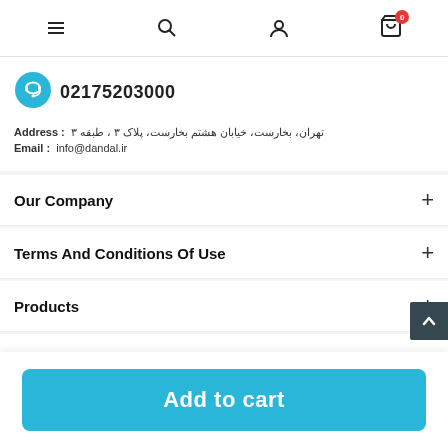Navigation bar with menu, search, user, and cart icons
02175203000
Address: تهران، بخارست، خیابان هشتم بخارست، پلاک ۳ ، طبقه ۳
Email: info@dandal.ir
Our Company
Terms And Conditions Of Use
Products
Follow Us
Social icons: Facebook, Twitter, Instagram, YouTube, LinkedIn
Add to cart